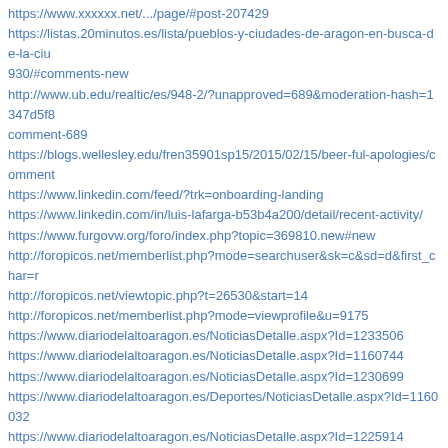https://www.xxxxxx.net/...page/#post-207429
https://listas.20minutos.es/lista/pueblos-y-ciudades-de-aragon-en-busca-de-la-ciu 930/#comments-new
http://www.ub.edu/realtic/es/948-2/?unapproved=689&moderation-hash=1347d5f8 comment-689
https://blogs.wellesley.edu/fren35901sp15/2015/02/15/beer-ful-apologies/comment
https://www.linkedin.com/feed/?trk=onboarding-landing
https://www.linkedin.com/in/luis-lafarga-b53b4a200/detail/recent-activity/
https://www.furgovw.org/foro/index.php?topic=369810.new#new
http://foropicos.net/memberlist.php?mode=searchuser&sk=c&sd=d&first_char=r
http://foropicos.net/viewtopic.php?t=26530&start=14
http://foropicos.net/memberlist.php?mode=viewprofile&u=9175
https://www.diariodelaltoaragon.es/NoticiasDetalle.aspx?Id=1233506
https://www.diariodelaltoaragon.es/NoticiasDetalle.aspx?Id=1160744
https://www.diariodelaltoaragon.es/NoticiasDetalle.aspx?Id=1230699
https://www.diariodelaltoaragon.es/Deportes/NoticiasDetalle.aspx?Id=1160032
https://www.diariodelaltoaragon.es/NoticiasDetalle.aspx?Id=1225914
http://www.radiouno.pe/noticias/87392/primera-serie-animada-tacna-premiada-por-
https://lahora.pe/nueva-cepa-coronavirus-londres-oms-lr/
https://www.diariodelaltoaragon.es/NoticiasDetalle.aspx?Id=1020276
http://www.diariohoy.com.pe/noticia/trump-anuncio-medidas-economicas-para-enfr 1273
https://www.diariodelaltoaragon.es/NoticiasDetalle.aspx?Id=1219489